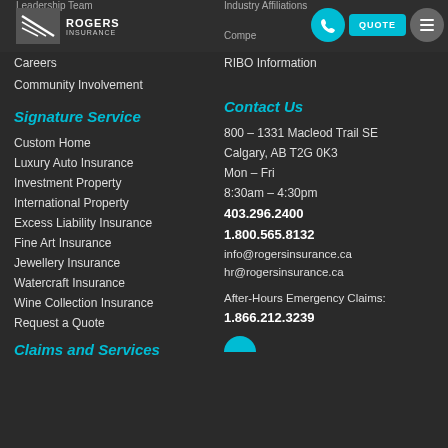Rogers Insurance
Leadership Team
Industry Affiliations
Careers
RIBO Information
Community Involvement
Signature Service
Contact Us
Custom Home
800 – 1331 Macleod Trail SE
Luxury Auto Insurance
Calgary, AB T2G 0K3
Investment Property
Mon – Fri
International Property
8:30am – 4:30pm
Excess Liability Insurance
403.296.2400
Fine Art Insurance
1.800.565.8132
Jewellery Insurance
info@rogersinsurance.ca
Watercraft Insurance
hr@rogersinsurance.ca
Wine Collection Insurance
Request a Quote
After-Hours Emergency Claims:
1.866.212.3239
Claims and Services